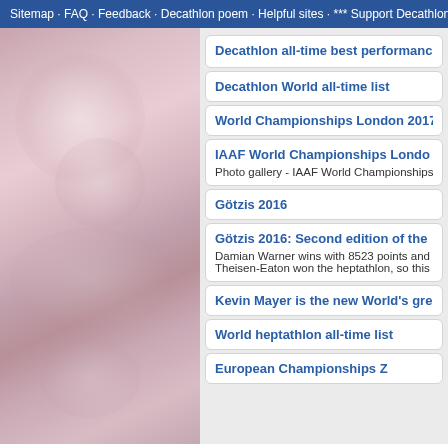Sitemap · FAQ · Feedback · Decathlon poem · Helpful sites · *** Support Decathlon
[Figure (photo): Blurred pink/mauve abstract background image on the left side of the page]
Decathlon all-time best performance
Decathlon World all-time list
World Championships London 2017
IAAF World Championships London
Photo gallery - IAAF World Championships L
Götzis 2016
Götzis 2016: Second edition of the
Damian Warner wins with 8523 points and m Theisen-Eaton won the heptathlon, so this w
Kevin Mayer is the new World's gre
World heptathlon all-time list
European Championships Z